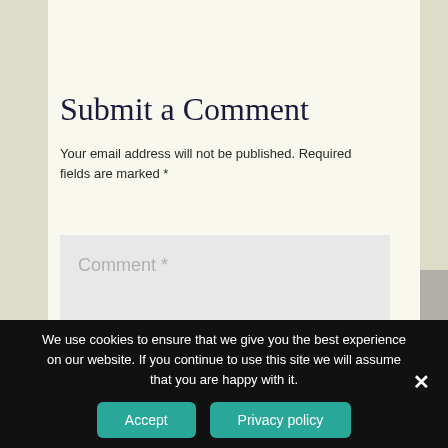Submit a Comment
Your email address will not be published. Required fields are marked *
Comment *
We use cookies to ensure that we give you the best experience on our website. If you continue to use this site we will assume that you are happy with it.
Accept
Privacy policy